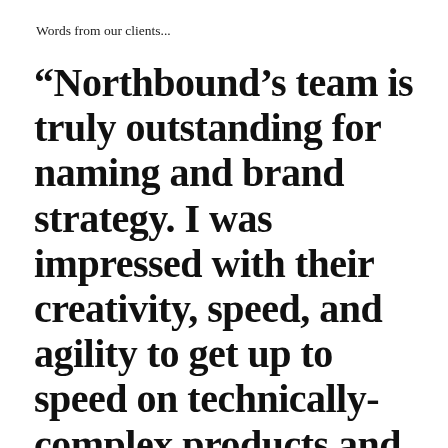Words from our clients...
“Northbound’s team is truly outstanding for naming and brand strategy. I was impressed with their creativity, speed, and agility to get up to speed on technically-complex products and services.”